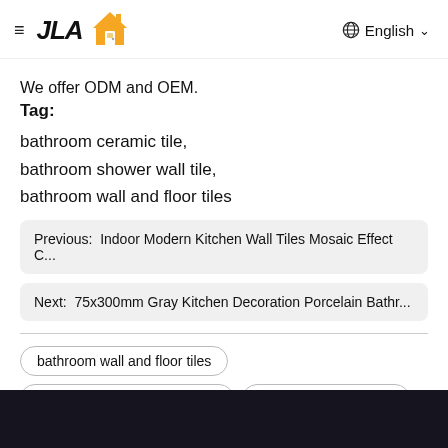≡ JLA [house logo] | 🌐 English ∨
We offer ODM and OEM.
Tag:
bathroom ceramic tile,
bathroom shower wall tile,
bathroom wall and floor tiles
Previous:  Indoor Modern Kitchen Wall Tiles Mosaic Effect C...
Next:  75x300mm Gray Kitchen Decoration Porcelain Bathr...
bathroom wall and floor tiles
Ceramic Bathroom Wall Tiles
bathroom ceramic tile